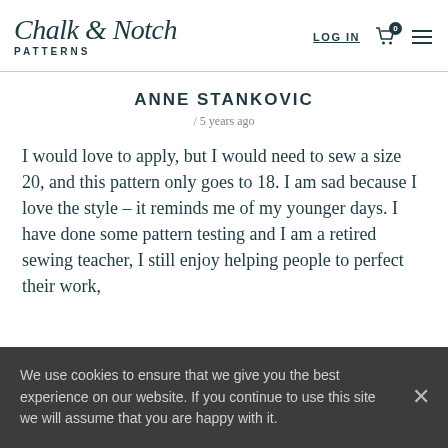Chalk & Notch Patterns | LOG IN | 0
ANNE STANKOVIC
/ 5 years ago
I would love to apply, but I would need to sew a size 20, and this pattern only goes to 18. I am sad because I love the style – it reminds me of my younger days. I have done some pattern testing and I am a retired sewing teacher, I still enjoy helping people to perfect their work,
We use cookies to ensure that we give you the best experience on our website. If you continue to use this site we will assume that you are happy with it.